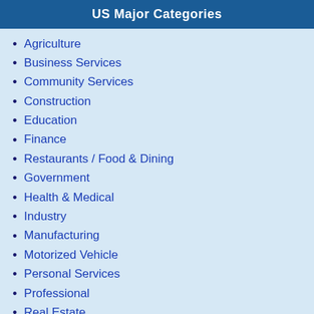US Major Categories
Agriculture
Business Services
Community Services
Construction
Education
Finance
Restaurants / Food & Dining
Government
Health & Medical
Industry
Manufacturing
Motorized Vehicle
Personal Services
Professional
Real Estate
Shopping & Shopping Services